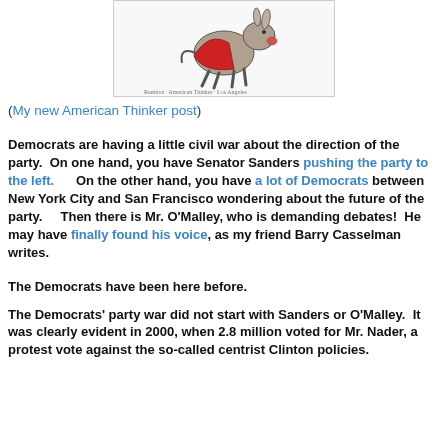[Figure (illustration): Political cartoon of a donkey (Democratic symbol) in a red cape, running or stumbling, with a signature at the bottom]
(My new American Thinker post)
Democrats are having a little civil war about the direction of the party.  On one hand, you have Senator Sanders pushing the party to the left.      On the other hand, you have a lot of Democrats between New York City and San Francisco wondering about the future of the party.     Then there is Mr. O'Malley, who is demanding debates!  He may have finally found his voice, as my friend Barry Casselman writes.
The Democrats have been here before.
The Democrats' party war did not start with Sanders or O'Malley.  It was clearly evident in 2000, when 2.8 million voted for Mr. Nader, a protest vote against the so-called centrist Clinton policies.